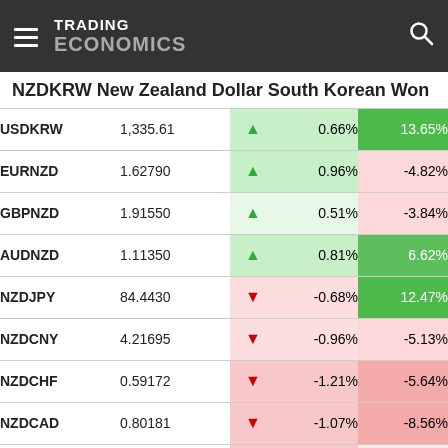TRADING ECONOMICS
NZDKRW New Zealand Dollar South Korean Won
|  | Price |  | Day% | Year% |
| --- | --- | --- | --- | --- |
| USDKRW | 1,335.61 | ▲ | 0.66% | 13.65% |
| EURNZD | 1.62790 | ▲ | 0.96% | -4.82% |
| GBPNZD | 1.91550 | ▲ | 0.51% | -3.84% |
| AUDNZD | 1.11350 | ▲ | 0.81% | 6.62% |
| NZDJPY | 84.4430 | ▼ | -0.68% | 12.47% |
| NZDCNY | 4.21695 | ▼ | -0.96% | -5.13% |
| NZDCHF | 0.59172 | ▼ | -1.21% | -5.64% |
| NZDCAD | 0.80181 | ▼ | -1.07% | -8.56% |
| NZDINR | 49.3665 | ▼ | -1.12% | -2.92% |
| … | … | ▼ | … | … |